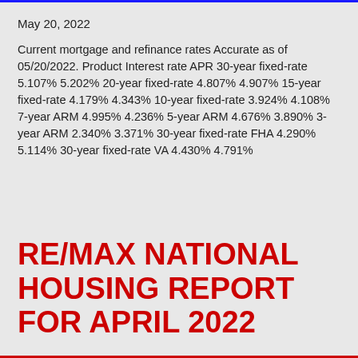May 20, 2022
Current mortgage and refinance rates Accurate as of 05/20/2022. Product Interest rate APR 30-year fixed-rate 5.107% 5.202% 20-year fixed-rate 4.807% 4.907% 15-year fixed-rate 4.179% 4.343% 10-year fixed-rate 3.924% 4.108% 7-year ARM 4.995% 4.236% 5-year ARM 4.676% 3.890% 3-year ARM 2.340% 3.371% 30-year fixed-rate FHA 4.290% 5.114% 30-year fixed-rate VA 4.430% 4.791%
RE/MAX NATIONAL HOUSING REPORT FOR APRIL 2022